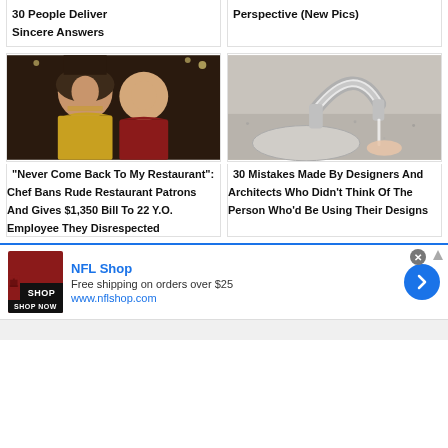30 People Deliver Sincere Answers
Perspective (New Pics)
[Figure (photo): A couple posing together, woman with long hair and man in red jacket]
"Never Come Back To My Restaurant": Chef Bans Rude Restaurant Patrons And Gives $1,350 Bill To 22 Y.O. Employee They Disrespected
[Figure (photo): Close-up of a modern chrome faucet on a granite sink countertop]
30 Mistakes Made By Designers And Architects Who Didn't Think Of The Person Who'd Be Using Their Designs
[Figure (other): NFL Shop advertisement banner: Free shipping on orders over $25, www.nflshop.com, SHOP NOW button]